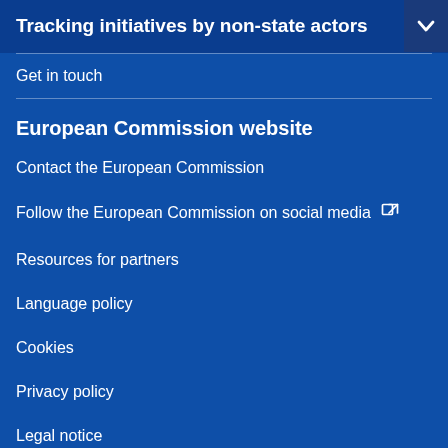Tracking initiatives by non-state actors
Get in touch
European Commission website
Contact the European Commission
Follow the European Commission on social media
Resources for partners
Language policy
Cookies
Privacy policy
Legal notice